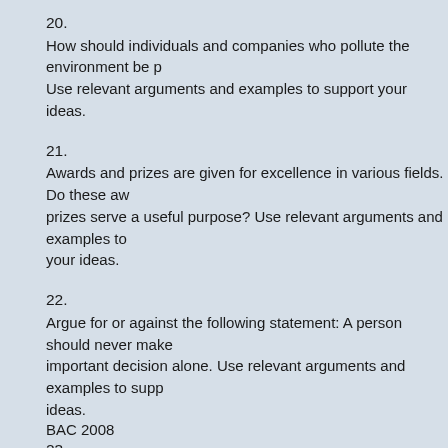20.
How should individuals and companies who pollute the environment be p... Use relevant arguments and examples to support your ideas.
21.
Awards and prizes are given for excellence in various fields. Do these aw... prizes serve a useful purpose? Use relevant arguments and examples to... your ideas.
22.
Argue for or against the following statement: A person should never make... important decision alone. Use relevant arguments and examples to supp... ideas.
23.
Countries, businesses, and schools are three areas that need good leade... Choose one of these three areas and describe the most important qualiti... leader in that area. Explain why these qualities are important, using relev... examples and details.
BAC 2008